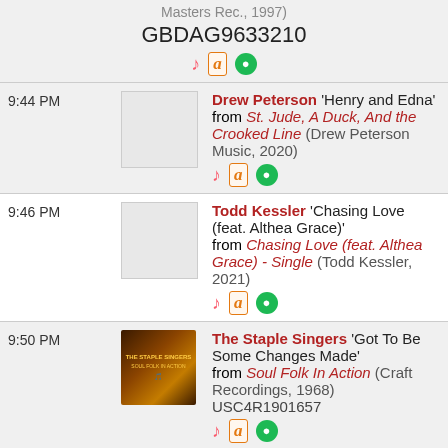Masters Rec., 1997)
GBDAG9633210
| Time | Art | Info |
| --- | --- | --- |
| 9:44 PM | [album art placeholder] | Drew Peterson 'Henry and Edna' from St. Jude, A Duck, And the Crooked Line (Drew Peterson Music, 2020) |
| 9:46 PM | [album art placeholder] | Todd Kessler 'Chasing Love (feat. Althea Grace)' from Chasing Love (feat. Althea Grace) - Single (Todd Kessler, 2021) |
| 9:50 PM | [album art: Soul Folk In Action] | The Staple Singers 'Got To Be Some Changes Made' from Soul Folk In Action (Craft Recordings, 1968) USC4R1901657 |
| 9:53 PM | [album art placeholder] | Andy Hughes & The Mighty Few |